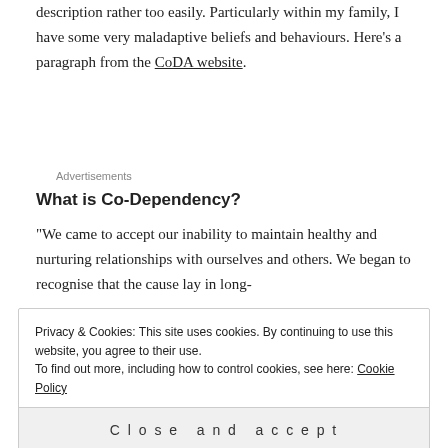description rather too easily. Particularly within my family, I have some very maladaptive beliefs and behaviours. Here's a paragraph from the CoDA website.
Advertisements
What is Co-Dependency?
“We came to accept our inability to maintain healthy and nurturing relationships with ourselves and others. We began to recognise that the cause lay in long-
Privacy & Cookies: This site uses cookies. By continuing to use this website, you agree to their use.
To find out more, including how to control cookies, see here: Cookie Policy
Close and accept
They've got an extensive tick list on the site that helps